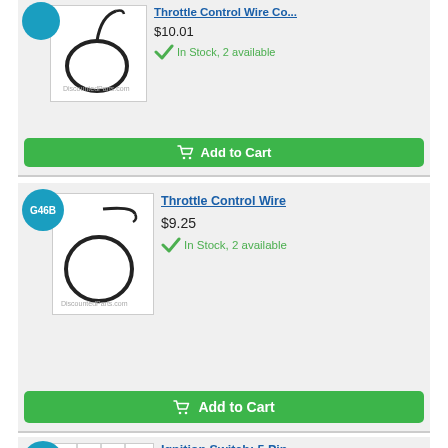[Figure (photo): Throttle control wire coiled cable product image]
$10.01
In Stock, 2 available
Add to Cart
G46B
Throttle Control Wire
[Figure (photo): Throttle control wire coiled cable product image, G46B]
$9.25
In Stock, 2 available
Add to Cart
G47
Ignition Switch: 5 Pin
[Figure (photo): Ignition switch 5 pin component on grid background]
$32.55
In Stock, 25+ available